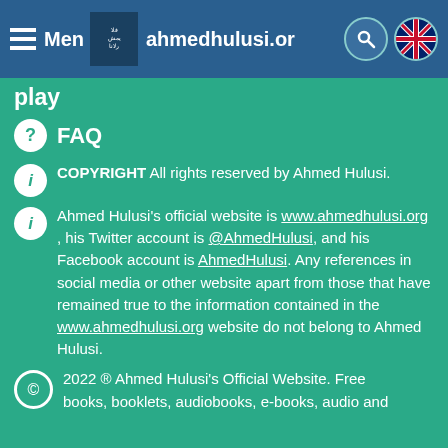Menu  ahmedhulusi.org
play
FAQ
COPYRIGHT
All rights reserved by Ahmed Hulusi.
Ahmed Hulusi's official website is www.ahmedhulusi.org , his Twitter account is @AhmedHulusi, and his Facebook account is AhmedHulusi. Any references in social media or other website apart from those that have remained true to the information contained in the www.ahmedhulusi.org website do not belong to Ahmed Hulusi.
2022 ® Ahmed Hulusi's Official Website.  Free books, booklets, audiobooks, e-books, audio and